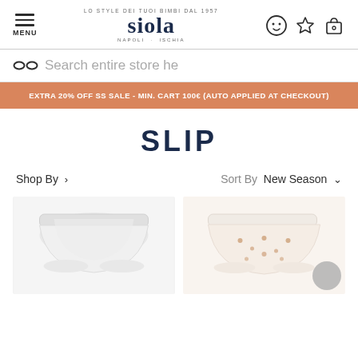MENU | siola | [icons]
Search entire store he
EXTRA 20% OFF SS SALE - MIN. CART 100€ (AUTO APPLIED AT CHECKOUT)
SLIP
Shop By > | Sort By New Season ˅
[Figure (photo): Two white children's briefs/slips displayed on a white background]
[Figure (photo): Two floral print children's briefs/slips displayed on a white background]